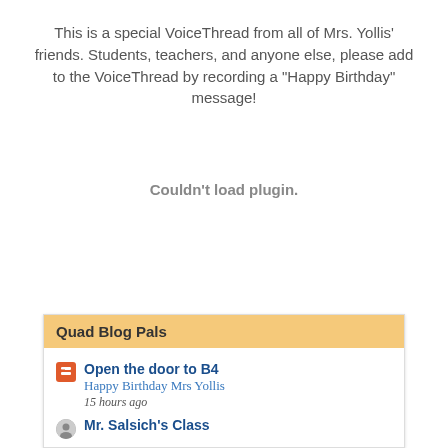This is a special VoiceThread from all of Mrs. Yollis' friends. Students, teachers, and anyone else, please add to the VoiceThread by recording a "Happy Birthday" message!
Couldn't load plugin.
Quad Blog Pals
Open the door to B4
Happy Birthday Mrs Yollis
15 hours ago
Mr. Salsich's Class